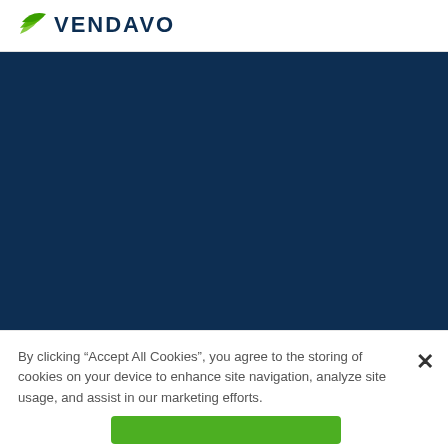[Figure (logo): Vendavo logo with green leaf icon and dark blue VENDAVO text]
[Figure (other): Dark navy blue rectangular panel, appears to be a website hero or video area]
By clicking “Accept All Cookies”, you agree to the storing of cookies on your device to enhance site navigation, analyze site usage, and assist in our marketing efforts.